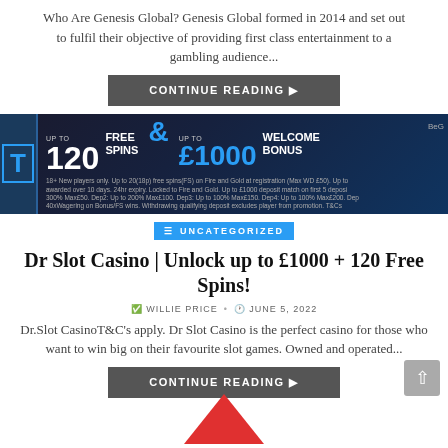Who Are Genesis Global? Genesis Global formed in 2014 and set out to fulfil their objective of providing first class entertainment to a gambling audience...
CONTINUE READING ▶
[Figure (infographic): Casino banner ad: UP TO 120 FREE SPINS & UP TO £1000 WELCOME BONUS. Small print below. BeG label top right.]
UNCATEGORIZED
Dr Slot Casino | Unlock up to £1000 + 120 Free Spins!
WILLIE PRICE • JUNE 5, 2022
Dr.Slot CasinoT&C's apply. Dr Slot Casino is the perfect casino for those who want to win big on their favourite slot games. Owned and operated...
CONTINUE READING ▶